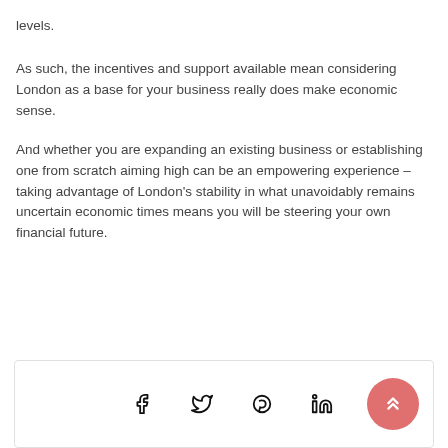levels.
As such, the incentives and support available mean considering London as a base for your business really does make economic sense.
And whether you are expanding an existing business or establishing one from scratch aiming high can be an empowering experience – taking advantage of London’s stability in what unavoidably remains uncertain economic times means you will be steering your own financial future.
[Figure (other): Social media sharing footer bar with Facebook, Twitter, Pinterest, LinkedIn icons and a salmon/pink scroll-to-top button with double chevron up arrows]